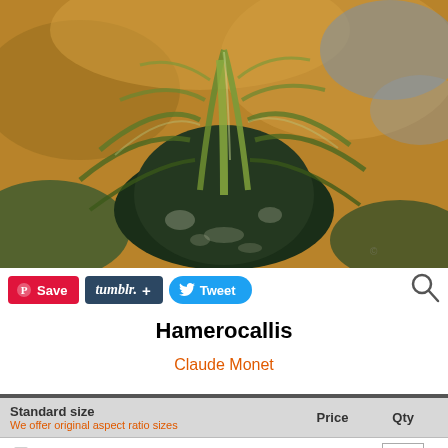[Figure (photo): Impressionist painting of a Hamerocallis plant by Claude Monet. Dense green foliage with broad leaves spreading outward against a warm ochre/brown and blue-grey background.]
[Figure (other): Row of social sharing buttons: Pinterest Save (red), Tumblr + (dark blue), Twitter Tweet (light blue). Magnifier/zoom icon at right.]
Hamerocallis
Claude Monet
| Standard size | Price | Qty |
| --- | --- | --- |
| (checkbox) 20 X 24 in | $95.95 | 1 |